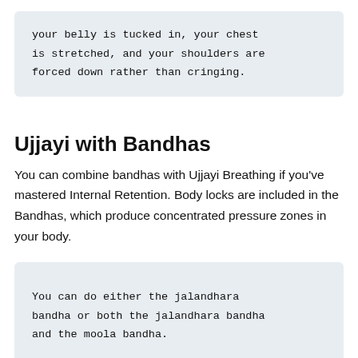your belly is tucked in, your chest is stretched, and your shoulders are forced down rather than cringing.
Ujjayi with Bandhas
You can combine bandhas with Ujjayi Breathing if you've mastered Internal Retention. Body locks are included in the Bandhas, which produce concentrated pressure zones in your body.
You can do either the jalandhara bandha or both the jalandhara bandha and the moola bandha.